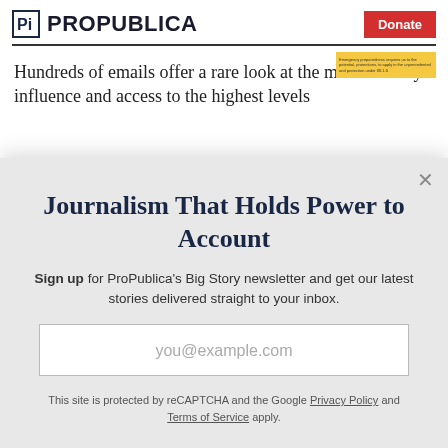ProPublica | Donate
Hundreds of emails offer a rare look at the meat industry's influence and access to the highest levels
Journalism That Holds Power to Account
Sign up for ProPublica's Big Story newsletter and get our latest stories delivered straight to your inbox.
you@example.com
Get the Newsletter
No thanks, I'm all set
This site is protected by reCAPTCHA and the Google Privacy Policy and Terms of Service apply.